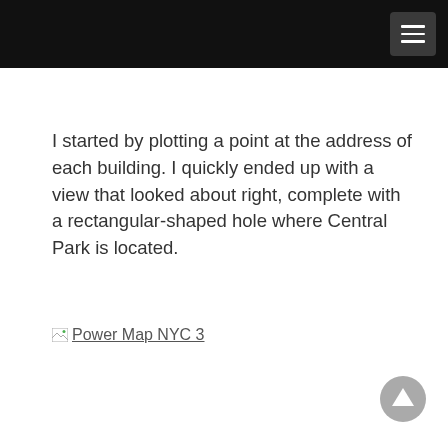I started by plotting a point at the address of each building. I quickly ended up with a view that looked about right, complete with a rectangular-shaped hole where Central Park is located.
[Figure (other): Broken image placeholder link labeled 'Power Map NYC 3']